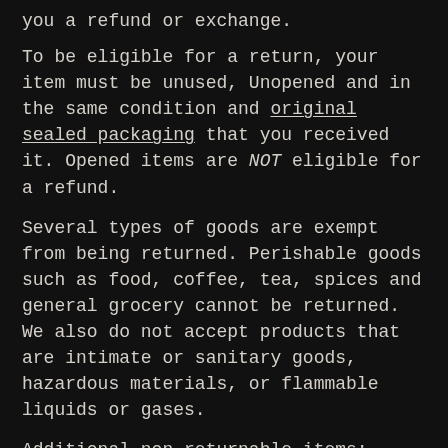you a refund or exchange.
To be eligible for a return, your item must be unused, Unopened and in the same condition and original sealed packaging that you received it. Opened items are NOT eligible for a refund.
Several types of goods are exempt from being returned. Perishable goods such as food, coffee, tea, spices and general grocery cannot be returned. We also do not accept products that are intimate or sanitary goods, hazardous materials, or flammable liquids or gases.
Additional non-returnable items:
* Gift cards
* Downloadable software products
* Some health and personal care items